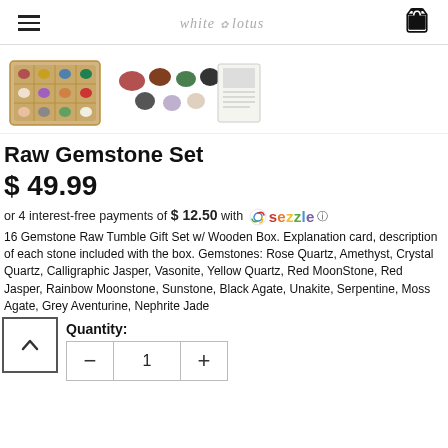white lotus
[Figure (photo): Two product images: left shows a wooden box with 12 compartments containing raw gemstones; right shows loose tumbled gemstones scattered next to a product card/booklet.]
Raw Gemstone Set
$ 49.99
or 4 interest-free payments of $ 12.50 with Sezzle
16 Gemstone Raw Tumble Gift Set w/ Wooden Box. Explanation card, description of each stone included with the box. Gemstones: Rose Quartz, Amethyst, Crystal Quartz, Calligraphic Jasper, Vasonite, Yellow Quartz, Red MoonStone, Red Jasper, Rainbow Moonstone, Sunstone, Black Agate, Unakite, Serpentine, Moss Agate, Grey Aventurine, Nephrite Jade.
Quantity:
1